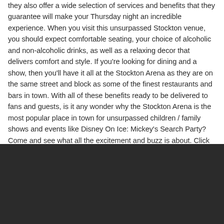they also offer a wide selection of services and benefits that they guarantee will make your Thursday night an incredible experience. When you visit this unsurpassed Stockton venue, you should expect comfortable seating, your choice of alcoholic and non-alcoholic drinks, as well as a relaxing decor that delivers comfort and style. If you're looking for dining and a show, then you'll have it all at the Stockton Arena as they are on the same street and block as some of the finest restaurants and bars in town. With all of these benefits ready to be delivered to fans and guests, is it any wonder why the Stockton Arena is the most popular place in town for unsurpassed children / family shows and events like Disney On Ice: Mickey's Search Party? Come and see what all the excitement and buzz is about. Click the Buy Tickets button below to get your tickets today.
[Figure (photo): Dark/black background image area at the bottom of the page]